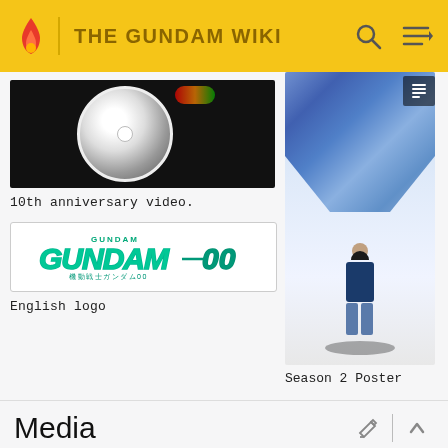THE GUNDAM WIKI
[Figure (screenshot): 10th anniversary video thumbnail showing a DVD disc on dark background]
10th anniversary video.
[Figure (logo): Gundam 00 English logo in teal/green lettering on white background]
English logo
[Figure (illustration): Season 2 Poster showing Gundam Exia mech with pilot standing in front on white background]
Season 2 Poster
Media
Drama CDs